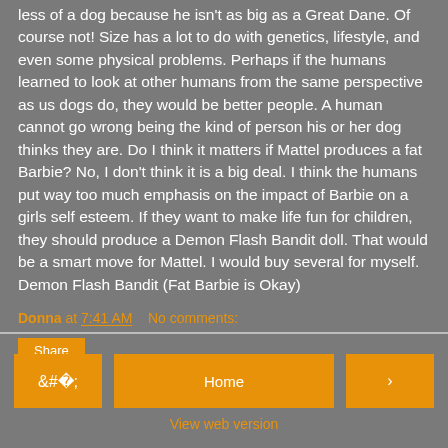less of a dog because he isn't as big as a Great Dane. Of course not! Size has a lot to do with genetics, lifestyle, and even some physical problems. Perhaps if the humans learned to look at other humans from the same perspective as us dogs do, they would be better people. A human cannot go wrong being the kind of person his or her dog thinks they are. Do I think it matters if Mattel produces a fat Barbie? No, I don't think it is a big deal. I think the humans put way too much emphasis on the impact of Barbie on a girls self esteem. If they want to make life fun for children, they should produce a Demon Flash Bandit doll. That would be a smart move for Mattel. I would buy several for myself. Demon Flash Bandit (Fat Barbie is Okay)
Donna at 7:41 AM    No comments:
Share
Home | View web version